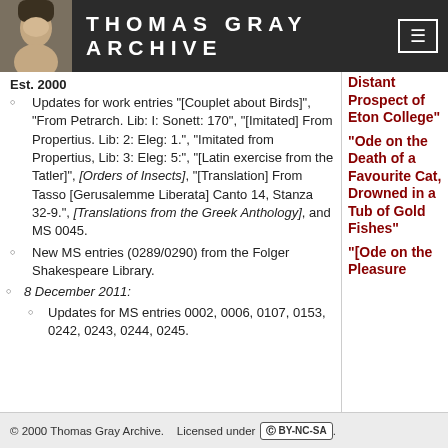THOMAS GRAY ARCHIVE
Est. 2000
Updates for work entries "[Couplet about Birds]", "From Petrarch. Lib: I: Sonett: 170", "[Imitated] From Propertius. Lib: 2: Eleg: 1.", "Imitated from Propertius, Lib: 3: Eleg: 5:", "[Latin exercise from the Tatler]", [Orders of Insects], "[Translation] From Tasso [Gerusalemme Liberata] Canto 14, Stanza 32-9.", [Translations from the Greek Anthology], and MS 0045.
New MS entries (0289/0290) from the Folger Shakespeare Library.
8 December 2011:
Updates for MS entries 0002, 0006, 0107, 0153, 0242, 0243, 0244, 0245.
Distant Prospect of Eton College"
"Ode on the Death of a Favourite Cat, Drowned in a Tub of Gold Fishes"
"[Ode on the Pleasure
© 2000 Thomas Gray Archive.   Licensed under (cc) BY-NC-SA.